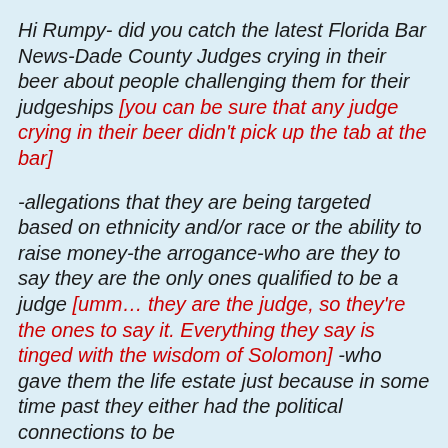Hi Rumpy- did you catch the latest Florida Bar News-Dade County Judges crying in their beer about people challenging them for their judgeships [you can be sure that any judge crying in their beer didn't pick up the tab at the bar]
-allegations that they are being targeted based on ethnicity and/or race or the ability to raise money-the arrogance-who are they to say they are the only ones qualified to be a judge [umm… they are the judge, so they're the ones to say it. Everything they say is tinged with the wisdom of Solomon] -who gave them the life estate just because in some time past they either had the political connections to be